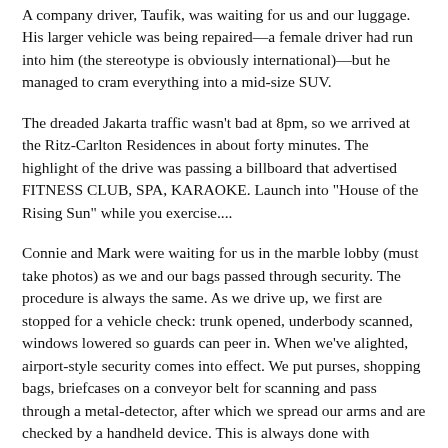A company driver, Taufik, was waiting for us and our luggage. His larger vehicle was being repaired—a female driver had run into him (the stereotype is obviously international)—but he managed to cram everything into a mid-size SUV.
The dreaded Jakarta traffic wasn't bad at 8pm, so we arrived at the Ritz-Carlton Residences in about forty minutes. The highlight of the drive was passing a billboard that advertised FITNESS CLUB, SPA, KARAOKE. Launch into "House of the Rising Sun" while you exercise....
Connie and Mark were waiting for us in the marble lobby (must take photos) as we and our bags passed through security. The procedure is always the same. As we drive up, we first are stopped for a vehicle check: trunk opened, underbody scanned, windows lowered so guards can peer in. When we've alighted, airport-style security comes into effect. We put purses, shopping bags, briefcases on a conveyor belt for scanning and pass through a metal-detector, after which we spread our arms and are checked by a handheld device. This is always done with characteristic